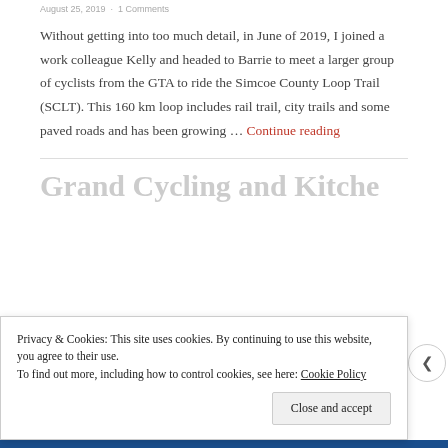August 25, 2019 · 1 Comments
Without getting into too much detail, in June of 2019, I joined a work colleague Kelly and headed to Barrie to meet a larger group of cyclists from the GTA to ride the Simcoe County Loop Trail (SCLT). This 160 km loop includes rail trail, city trails and some paved roads and has been growing … Continue reading
Privacy & Cookies: This site uses cookies. By continuing to use this website, you agree to their use.
To find out more, including how to control cookies, see here: Cookie Policy
Close and accept